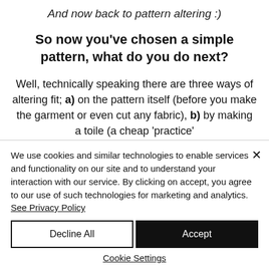And now back to pattern altering :)
So now you've chosen a simple pattern, what do you do next?
Well, technically speaking there are three ways of altering fit; a) on the pattern itself (before you make the garment or even cut any fabric), b) by making a toile (a cheap 'practice'
We use cookies and similar technologies to enable services and functionality on our site and to understand your interaction with our service. By clicking on accept, you agree to our use of such technologies for marketing and analytics. See Privacy Policy
Decline All
Accept
Cookie Settings